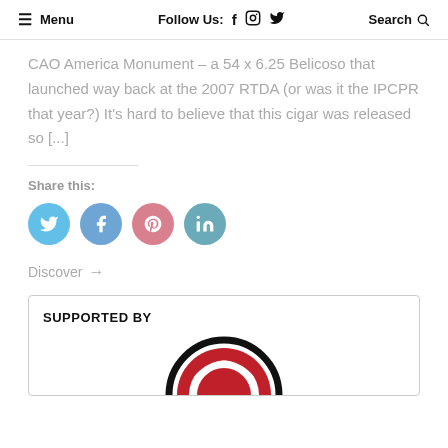≡ Menu   Follow Us: f ⊙ 𝕿   Search 🔍
CAO America Monument – a 54 x 6.25 Belicoso that launched way back at the 2007 RTDA (or was it the IPCPR that year?) It's hard to believe that this cigar was released so [...]
Share this:
[Figure (infographic): Four social media share buttons as colored circles: Twitter (light blue), Facebook (blue-grey), Pinterest (pink-red), LinkedIn (teal-blue)]
Discover →
SUPPORTED BY
[Figure (logo): Partial logo with red, black and white circular design at the bottom of the supported by box]